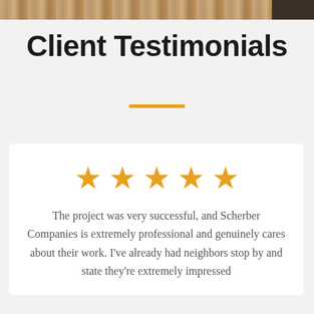[Figure (photo): Partial photo strip at the top of the page showing a textured sandy/earthen surface with a dark area on the right edge]
Client Testimonials
[Figure (infographic): Five orange star rating icons displayed in a row]
The project was very successful, and Scherber Companies is extremely professional and genuinely cares about their work. I've already had neighbors stop by and state they're extremely impressed